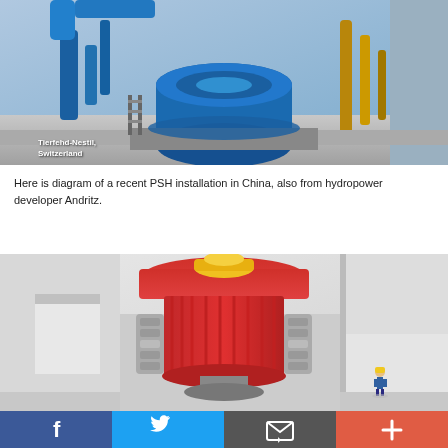[Figure (photo): Industrial hydropower turbine installation interior, large blue machinery, pipes, pumped-storage hydro equipment. Located at Tierfehd-Nestil, Switzerland.]
Tierfehd-Nestil, Switzerland
Here is diagram of a recent PSH installation in China, also from hydropower developer Andritz.
[Figure (engineering-diagram): Cutaway 3D diagram of a pumped-storage hydropower (PSH) turbine-generator installation in China by Andritz. Shows red cylindrical generator/motor unit, silver mechanical components, white reinforced concrete structure, and a small human figure for scale.]
Facebook | Twitter | Email | Add